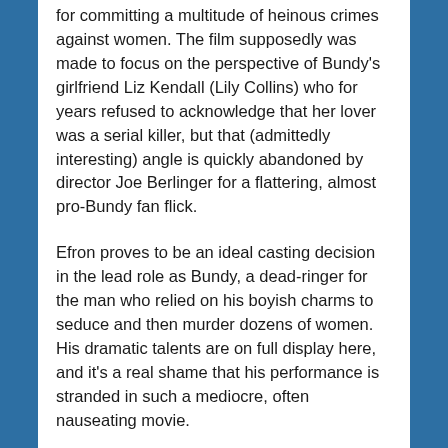for committing a multitude of heinous crimes against women. The film supposedly was made to focus on the perspective of Bundy's girlfriend Liz Kendall (Lily Collins) who for years refused to acknowledge that her lover was a serial killer, but that (admittedly interesting) angle is quickly abandoned by director Joe Berlinger for a flattering, almost pro-Bundy fan flick.
Efron proves to be an ideal casting decision in the lead role as Bundy, a dead-ringer for the man who relied on his boyish charms to seduce and then murder dozens of women. His dramatic talents are on full display here, and it's a real shame that his performance is stranded in such a mediocre, often nauseating movie.